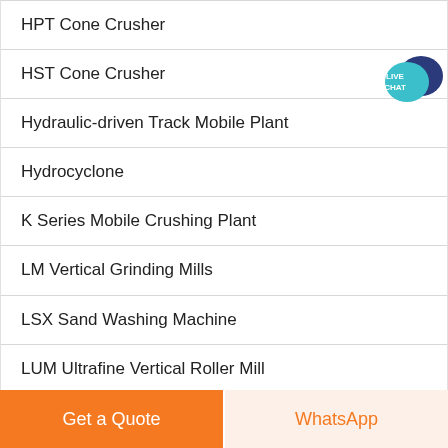HPT Cone Crusher
HST Cone Crusher
Hydraulic-driven Track Mobile Plant
Hydrocyclone
K Series Mobile Crushing Plant
LM Vertical Grinding Mills
LSX Sand Washing Machine
LUM Ultrafine Vertical Roller Mill
[Figure (illustration): Live Chat speech bubble icon in teal and dark navy blue]
Get a Quote
WhatsApp